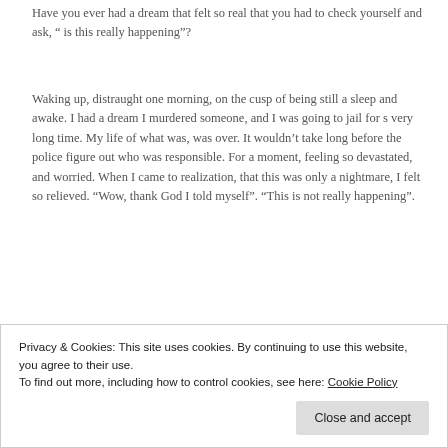Have you ever had a dream that felt so real that you had to check yourself and ask, “ is this really happening”?
Waking up, distraught one morning, on the cusp of being still a sleep and awake. I had a dream I murdered someone, and I was going to jail for s very long time. My life of what was, was over. It wouldn’t take long before the police figure out who was responsible. For a moment, feeling so devastated, and worried. When I came to realization, that this was only a nightmare, I felt so relieved. “Wow, thank God I told myself”. “This is not really happening”.
My youngest daughter was having some problems with her
his body in the woods, and putting him behind an old log
Privacy & Cookies: This site uses cookies. By continuing to use this website, you agree to their use.
To find out more, including how to control cookies, see here: Cookie Policy